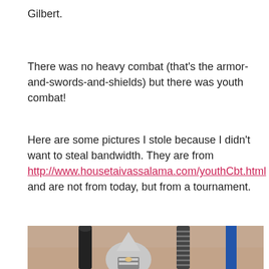Gilbert.
There was no heavy combat (that’s the armor-and-swords-and-shields) but there was youth combat!
Here are some pictures I stole because I didn’t want to steal bandwidth. They are from http://www.housetaivassalama.com/youthCbt.html and are not from today, but from a tournament.
[Figure (photo): A child wearing a silver medieval helmet/helm, surrounded by what appear to be poles or weapons, with a blurred brick wall background]